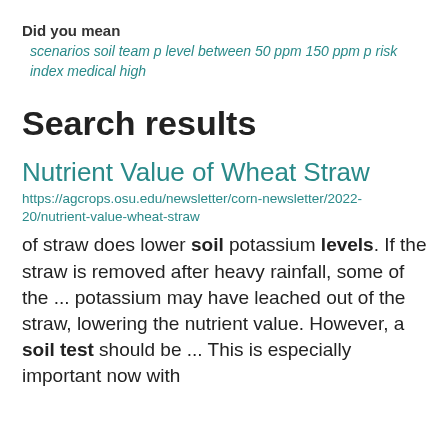Did you mean
scenarios soil team p level between 50 ppm 150 ppm p risk index medical high
Search results
Nutrient Value of Wheat Straw
https://agcrops.osu.edu/newsletter/corn-newsletter/2022-20/nutrient-value-wheat-straw
of straw does lower soil potassium levels. If the straw is removed after heavy rainfall, some of the ... potassium may have leached out of the straw, lowering the nutrient value. However, a soil test should be ... This is especially important now with